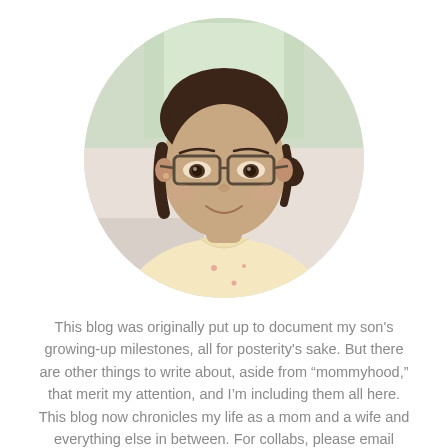[Figure (photo): Circular cropped portrait photo of a woman with glasses, dark hair pulled back, wearing a light yellow patterned top, smiling, with a bright window background]
This blog was originally put up to document my son's growing-up milestones, all for posterity's sake. But there are other things to write about, aside from “mommyhood,” that merit my attention, and I’m including them all here. This blog now chronicles my life as a mom and a wife and everything else in between. For collabs, please email tgfiguerres@yahoo.com.